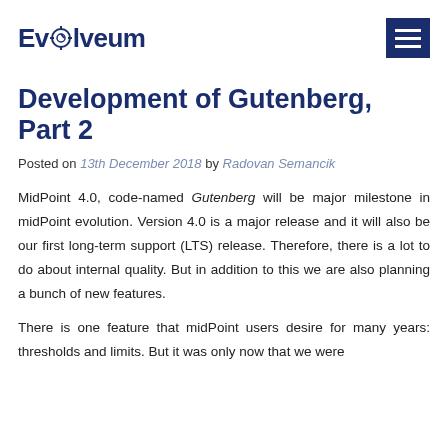Evolveum
Development of Gutenberg, Part 2
Posted on 13th December 2018 by Radovan Semancik
MidPoint 4.0, code-named Gutenberg will be major milestone in midPoint evolution. Version 4.0 is a major release and it will also be our first long-term support (LTS) release. Therefore, there is a lot to do about internal quality. But in addition to this we are also planning a bunch of new features.
There is one feature that midPoint users desire for many years: thresholds and limits. But it was only now that we were